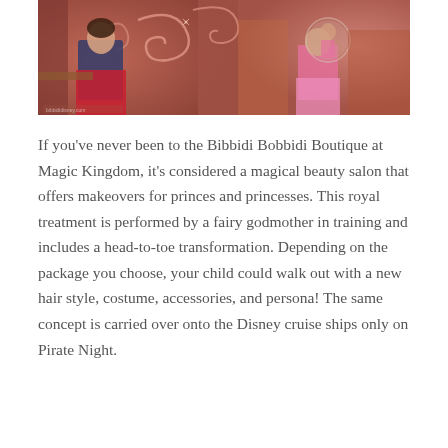[Figure (photo): Photo of children inside the Bibbidi Bobbidi Boutique at Magic Kingdom, showing colorful princess-themed decor with pink and red costumes.]
If you've never been to the Bibbidi Bobbidi Boutique at Magic Kingdom, it's considered a magical beauty salon that offers makeovers for princes and princesses. This royal treatment is performed by a fairy godmother in training and includes a head-to-toe transformation. Depending on the package you choose, your child could walk out with a new hair style, costume, accessories, and persona! The same concept is carried over onto the Disney cruise ships only on Pirate Night.